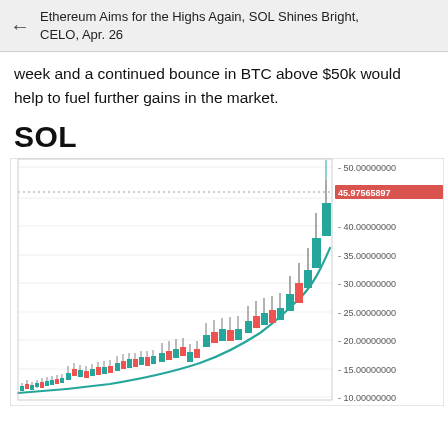Ethereum Aims for the Highs Again, SOL Shines Bright, CELO, Apr. 26
week and a continued bounce in BTC above $50k would help to fuel further gains in the market.
SOL
[Figure (continuous-plot): SOL/USD candlestick chart showing price rising from around 10 to nearly 50, with a blue moving average curve trending upward. Current price label shows 45.97565897 in red. Y-axis labels: 10.00000000, 15.00000000, 20.00000000, 25.00000000, 30.00000000, 35.00000000, 40.00000000, 45.97565897 (current, red), 50.00000000. Dotted horizontal line at approximately 45.97 level.]